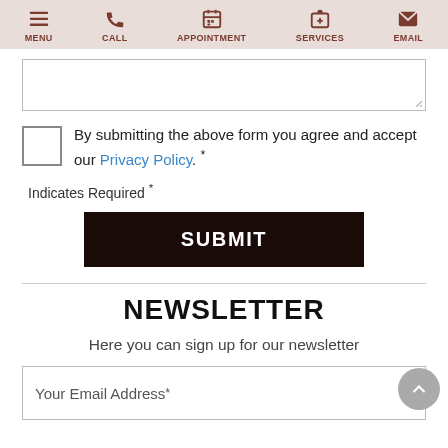MENU  CALL  APPOINTMENT  SERVICES  EMAIL
By submitting the above form you agree and accept our Privacy Policy. *
Indicates Required *
SUBMIT
NEWSLETTER
Here you can sign up for our newsletter
Your Email Address *